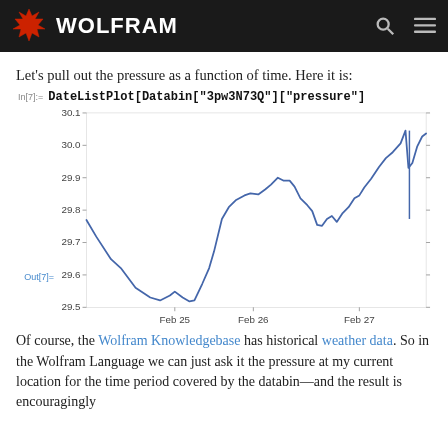WOLFRAM
Let's pull out the pressure as a function of time. Here it is:
In[7]:= DateListPlot[Databin["3pw3N73Q"]["pressure"]
[Figure (line-chart): Line chart showing atmospheric pressure over time from Feb 25 to Feb 27, starting around 29.77, dipping to ~29.5, rising to ~30.05 with a spike at end.]
Of course, the Wolfram Knowledgebase has historical weather data. So in the Wolfram Language we can just ask it the pressure at my current location for the time period covered by the databin—and the result is encouragingly